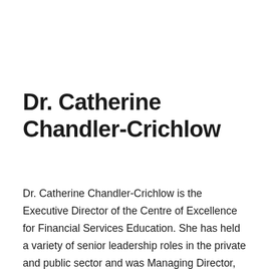Dr. Catherine Chandler-Crichlow
Dr. Catherine Chandler-Crichlow is the Executive Director of the Centre of Excellence for Financial Services Education. She has held a variety of senior leadership roles in the private and public sector and was Managing Director, International Leadership Associates Inc., Director - Corporate Programs at Rotman School of Management, University of Toronto and Associate Vice President – Education and Training at TD Bank Financial Group. She is a co-founder and